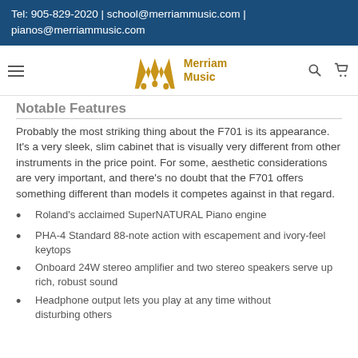Tel: 905-829-2020 | school@merriammusic.com | pianos@merriammusic.com
[Figure (logo): Merriam Music logo with stylized M and navigation bar with hamburger menu, search and cart icons]
Notable Features
Probably the most striking thing about the F701 is its appearance. It's a very sleek, slim cabinet that is visually very different from other instruments in the price point. For some, aesthetic considerations are very important, and there's no doubt that the F701 offers something different than models it competes against in that regard.
Roland's acclaimed SuperNATURAL Piano engine
PHA-4 Standard 88-note action with escapement and ivory-feel keytops
Onboard 24W stereo amplifier and two stereo speakers serve up rich, robust sound
Headphone output lets you play at any time without disturbing others